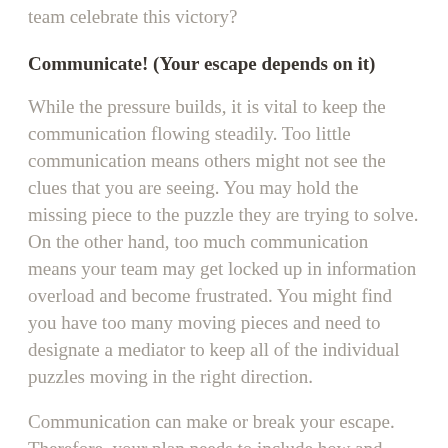team celebrate this victory?
Communicate! (Your escape depends on it)
While the pressure builds, it is vital to keep the communication flowing steadily. Too little communication means others might not see the clues that you are seeing. You may hold the missing piece to the puzzle they are trying to solve. On the other hand, too much communication means your team may get locked up in information overload and become frustrated. You might find you have too many moving pieces and need to designate a mediator to keep all of the individual puzzles moving in the right direction.
Communication can make or break your escape. Therefore, your plan needs to include how and what you are communicating to your ministry team. To handle growth and the added complexity it adds, you will need